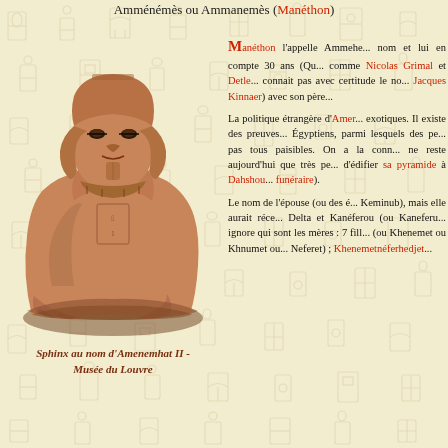Amménémès ou Ammanemès (Manéthon)
[Figure (photo): Sphinx au nom d'Amenemhat II, statue ancienne égyptienne en grès rose, conservée au Musée du Louvre. Le sphinx est représenté couché, avec une tête humaine et un corps de lion.]
Sphinx au nom d'Amenemhat II - Musée du Louvre
Manéthon l'appelle Ammehe... nom et lui en compte 30 ans (Qu... comme Nicolas Grimal et Detle... connait pas avec certitude le no... Jacques Kinnaer) avec son père...
La politique étrangère d'Amer... exotiques. Il existe des preuves... Égyptiens, parmi lesquels des pe... pas tous paisibles. On a la conn... ne reste aujourd'hui que très pe... d'édifier sa pyramide à Dahshou... funéraire).
Le nom de l'épouse (ou des é... Keminub), mais elle aurait réce... Delta et Kanéferou (ou Kaneferu... ignore qui sont les mères : 7 fill... (ou Khenemet ou Khnumet ou... Neferet) ; Khenemetnéferhedjet...